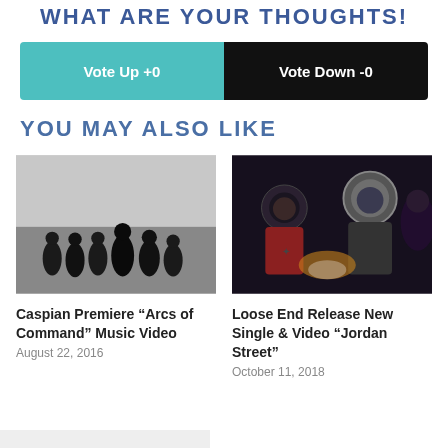WHAT ARE YOUR THOUGHTS!
Vote Up +0
Vote Down -0
YOU MAY ALSO LIKE
[Figure (photo): Black and white photo of a band (about 6 people) standing outdoors near water]
Caspian Premiere “Arcs of Command” Music Video
August 22, 2016
[Figure (photo): Dark photo of people, one wearing a helmet/space suit]
Loose End Release New Single & Video “Jordan Street”
October 11, 2018